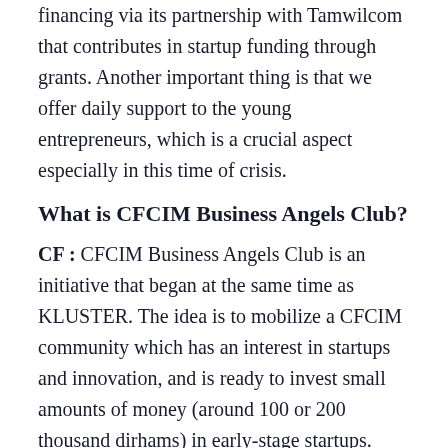financing via its partnership with Tamwilcom that contributes in startup funding through grants. Another important thing is that we offer daily support to the young entrepreneurs, which is a crucial aspect especially in this time of crisis.
What is CFCIM Business Angels Club?
CF : CFCIM Business Angels Club is an initiative that began at the same time as KLUSTER. The idea is to mobilize a CFCIM community which has an interest in startups and innovation, and is ready to invest small amounts of money (around 100 or 200 thousand dirhams) in early-stage startups. Unfortunately, there hasn't been any investment so far despite our best efforts. We organized several pitch events and trainings for startups to improve their business plans and pitch decks. But it seems like investors are very